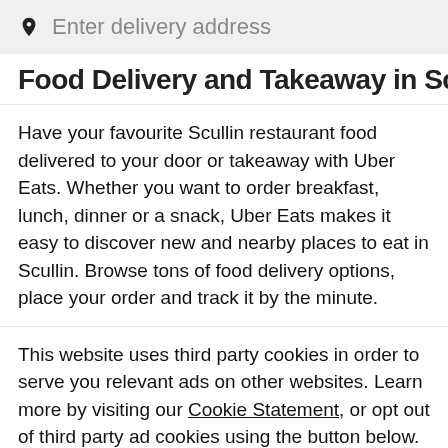[Figure (screenshot): Search bar with location pin icon and placeholder text 'Enter delivery address' on a light grey background]
Food Delivery and Takeaway in Scullin
Have your favourite Scullin restaurant food delivered to your door or takeaway with Uber Eats. Whether you want to order breakfast, lunch, dinner or a snack, Uber Eats makes it easy to discover new and nearby places to eat in Scullin. Browse tons of food delivery options, place your order and track it by the minute.
This website uses third party cookies in order to serve you relevant ads on other websites. Learn more by visiting our Cookie Statement, or opt out of third party ad cookies using the button below.
Opt out  Got it